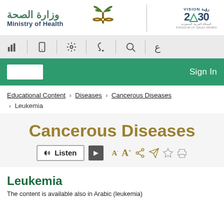[Figure (logo): Ministry of Health Saudi Arabia logo with Arabic text وزارة الصحة, crossed swords and palm tree emblem, and Vision 2030 logo]
[Figure (screenshot): Website toolbar with accessibility icons: bar chart, mobile, settings, hearing, search, and Arabic currency symbol]
[Figure (screenshot): Green navigation bar with white search box on left and Sign In text on right]
Educational Content > Diseases > Cancerous Diseases > Leukemia
Cancerous Diseases
[Figure (screenshot): Listen audio player button with play control, font resize buttons A- A+, share, bookmark, star, and print icons]
Leukemia
The content is available also in Arabic (leukemia)